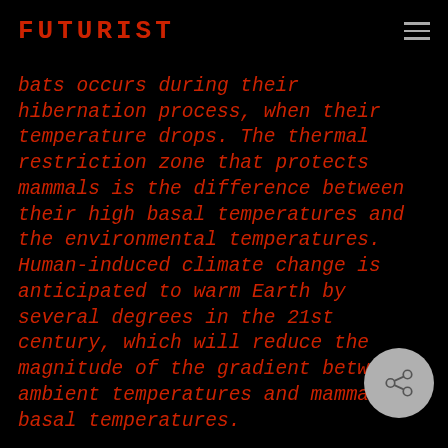FUTURIST
bats occurs during their hibernation process, when their temperature drops. The thermal restriction zone that protects mammals is the difference between their high basal temperatures and the environmental temperatures. Human-induced climate change is anticipated to warm Earth by several degrees in the 21st century, which will reduce the magnitude of the gradient between ambient temperatures and mammalian basal temperatures.